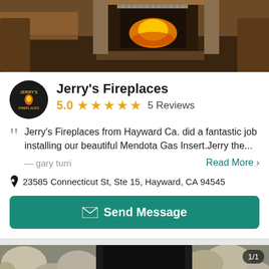[Figure (photo): Interior fireplace photo showing a wood-framed fireplace with fire burning, with chairs on either side]
Jerry's Fireplaces
5.0 ★★★★★ 5 Reviews
Jerry's Fireplaces from Hayward Ca. did a fantastic job installing our beautiful Mendota Gas Insert.Jerry the...
— gary turri
Read More >
23585 Connecticut St, Ste 15, Hayward, CA 94545
Send Message
[Figure (photo): Stone fireplace with river rock surround and dark fireplace insert; badge showing 1/1 in corner]